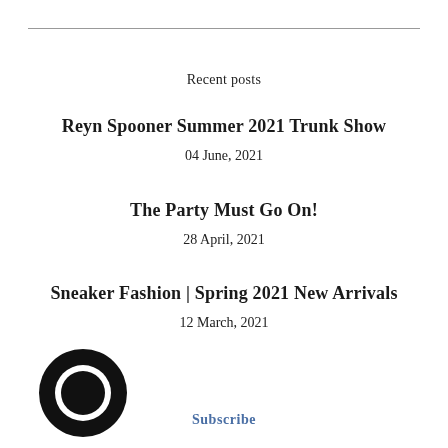Recent posts
Reyn Spooner Summer 2021 Trunk Show
04 June, 2021
The Party Must Go On!
28 April, 2021
Sneaker Fashion | Spring 2021 New Arrivals
12 March, 2021
[Figure (logo): Black circular logo with inner circular cutout forming a ring, resembling a chat bubble or letter O]
Subscribe